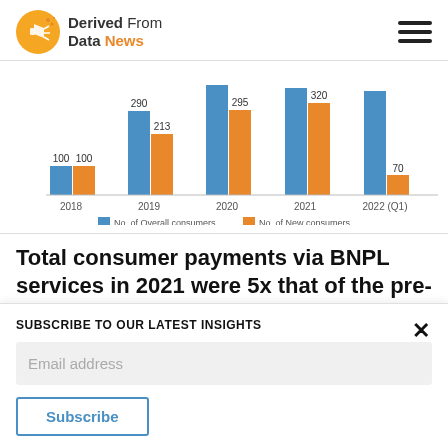Derived From Data News
[Figure (grouped-bar-chart): ]
Total consumer payments via BNPL services in 2021 were 5x that of the pre-pandemic levels seen in 2019. During the same period of
SUBSCRIBE TO OUR LATEST INSIGHTS
Email address
Subscribe